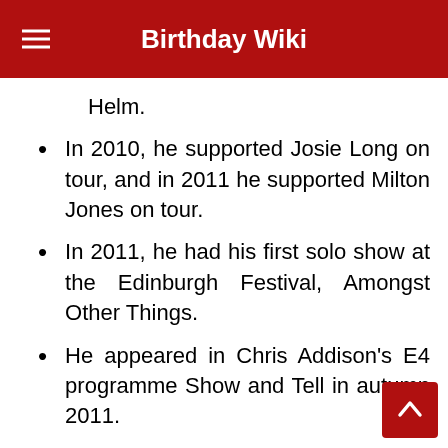Birthday Wiki
Helm.
In 2010, he supported Josie Long on tour, and in 2011 he supported Milton Jones on tour.
In 2011, he had his first solo show at the Edinburgh Festival, Amongst Other Things.
He appeared in Chris Addison's E4 programme Show and Tell in autumn 2011.
In spring 2012, he performed Amongst O…